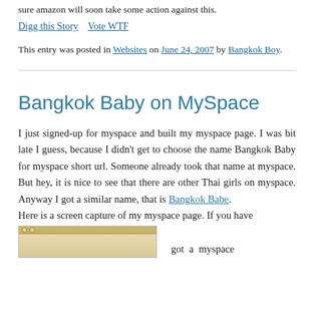sure amazon will soon take some action against this.
Digg this Story    Vote WTF
This entry was posted in Websites on June 24, 2007 by Bangkok Boy.
Bangkok Baby on MySpace
I just signed-up for myspace and built my myspace page. I was bit late I guess, because I didn't get to choose the name Bangkok Baby for myspace short url. Someone already took that name at myspace. But hey, it is nice to see that there are other Thai girls on myspace. Anyway I got a similar name, that is Bangkok Babe. Here is a screen capture of my myspace page. If you have got a myspace
[Figure (screenshot): Screenshot of a MySpace page with a brownish/golden background color scheme]